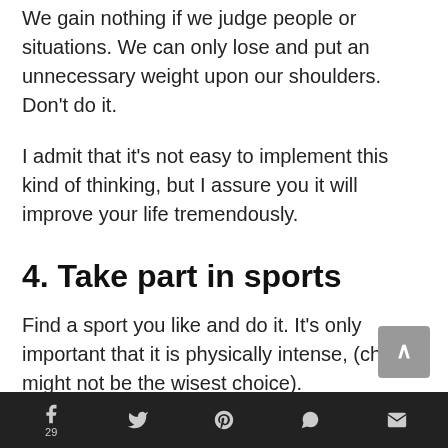We gain nothing if we judge people or situations. We can only lose and put an unnecessary weight upon our shoulders. Don't do it.
I admit that it's not easy to implement this kind of thinking, but I assure you it will improve your life tremendously.
4. Take part in sports
Find a sport you like and do it. It's only important that it is physically intense, (chess might not be the wisest choice).
f 29  [twitter]  [pinterest]  [whatsapp]  [email]